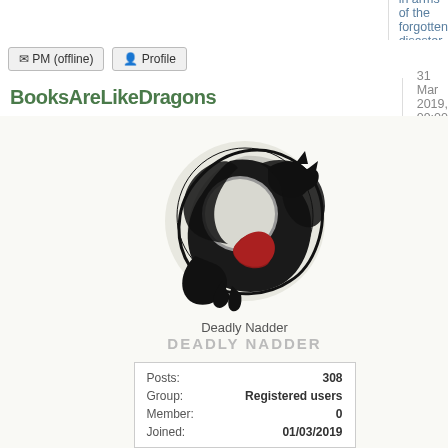Brother in arms of the forgotten disaster branch,
PM (offline)   Profile
BooksAreLikeDragons
31 Mar 2019, 09:00
[Figure (illustration): Dragon circular logo in black and red — Deadly Nadder dragon emblem]
Deadly Nadder
DEADLY NADDER
| Posts: | 308 |
| Group: | Registered users |
| Member: | 0 |
| Joined: | 01/03/2019 |
Light Fury
BooksAreLikeDragons
Hulk10
Toothless could be a Titanwing as
I think you're right. When he explode had a basically inexhaustible shot lim permanently — they only seem to sh that he definitely is one.
So, a common misconception is that To certainty is that there are very physica Toothless doesn't have those, so he's p against him being a Titan: https://www